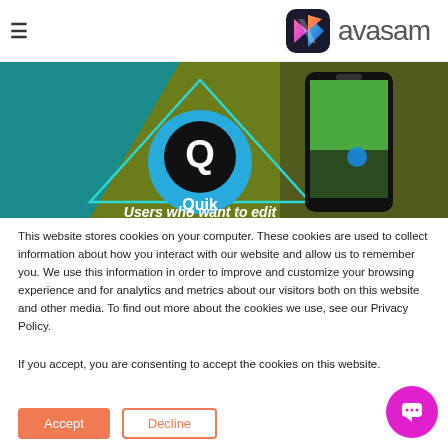avasam
[Figure (screenshot): Banner image showing Quik app logo on colorful background with teal, olive and dark sections, and a smartphone displaying a video editing interface. Text 'Users who want to edit' visible at bottom.]
This website stores cookies on your computer. These cookies are used to collect information about how you interact with our website and allow us to remember you. We use this information in order to improve and customize your browsing experience and for analytics and metrics about our visitors both on this website and other media. To find out more about the cookies we use, see our Privacy Policy.
If you accept, you are consenting to accept the cookies on this website.
Accept
Decline